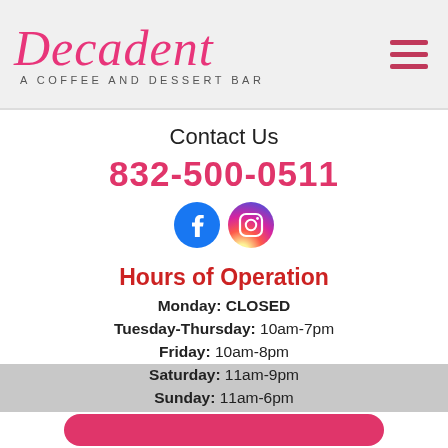Decadent — A COFFEE AND DESSERT BAR
Contact Us
832-500-0511
[Figure (other): Facebook and Instagram social media icons]
Hours of Operation
Monday: CLOSED
Tuesday-Thursday: 10am-7pm
Friday: 10am-8pm
Saturday: 11am-9pm
Sunday: 11am-6pm